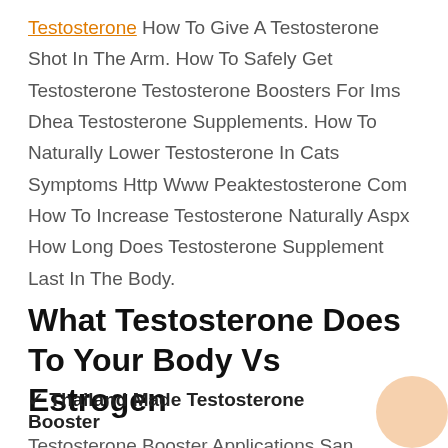Testosterone How To Give A Testosterone Shot In The Arm. How To Safely Get Testosterone Testosterone Boosters For Ims Dhea Testosterone Supplements. How To Naturally Lower Testosterone In Cats Symptoms Http Www Peaktestosterone Com How To Increase Testosterone Naturally Aspx How Long Does Testosterone Supplement Last In The Body.
What Testosterone Does To Your Body Vs Estrogen
✓ Thailand Made Testosterone Booster
Testosterone Booster Applications San Alpha ...